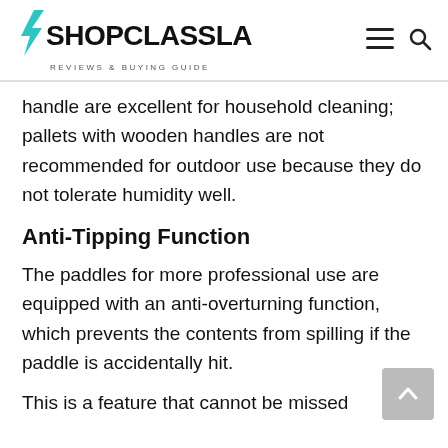SHOPCLASSLA REVIEWS & BUYING GUIDE
handle are excellent for household cleaning; pallets with wooden handles are not recommended for outdoor use because they do not tolerate humidity well.
Anti-Tipping Function
The paddles for more professional use are equipped with an anti-overturning function, which prevents the contents from spilling if the paddle is accidentally hit.
This is a feature that cannot be missed